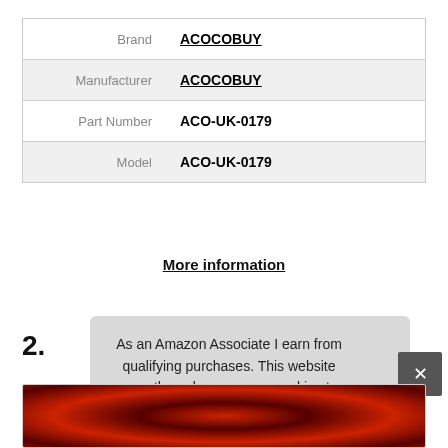|  |  |
| --- | --- |
| Brand | ACOCOBUY |
| Manufacturer | ACOCOBUY |
| Part Number | ACO-UK-0179 |
| Model | ACO-UK-0179 |
More information
2.
As an Amazon Associate I earn from qualifying purchases. This website uses the only necessary cookies to ensure you get the best experience on our website. More information
[Figure (photo): Bottom portion of a product image showing red and black cables or wires]